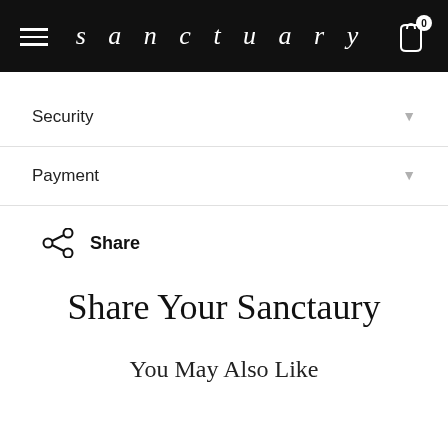sanctuary
Security
Payment
Share
Share Your Sanctaury
You May Also Like